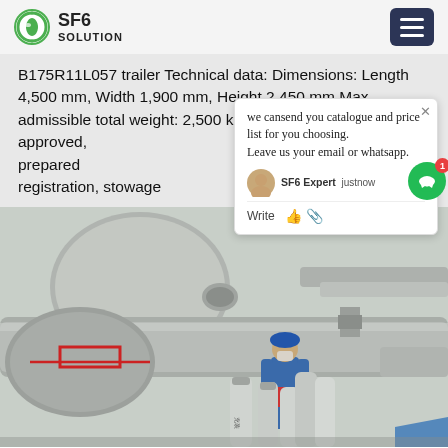SF6 SOLUTION
B175R11L057 trailer Technical data: Dimensions: Length 4,500 mm, Width 1,900 mm, Height 2,450 mm Max. admissible total weight: 2,500 kg 2-axle car trailer TÜV-approved, prepared for registration, stowage
[Figure (photo): Industrial SF6 gas handling scene showing large industrial vessels/tanks with a worker in blue hardhat and white coveralls, with gas cylinders in the foreground and industrial pipes and equipment in the background.]
we cansend you catalogue and price list for you choosing. Leave us your email or whatsapp.
SF6 Expert  justnow
Write